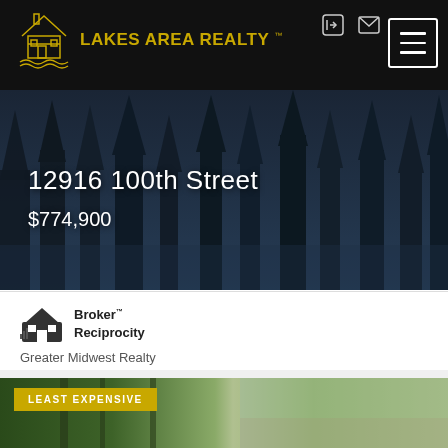[Figure (logo): Lakes Area Realty logo with house icon in gold/yellow outline on black background]
[Figure (photo): Dark nighttime photo of trees/forest used as hero banner background]
12916 100th Street
$774,900
[Figure (logo): Broker Reciprocity logo with house icon]
Greater Midwest Realty
[Figure (photo): Outdoor daytime photo of trees and street with LEAST EXPENSIVE badge overlay]